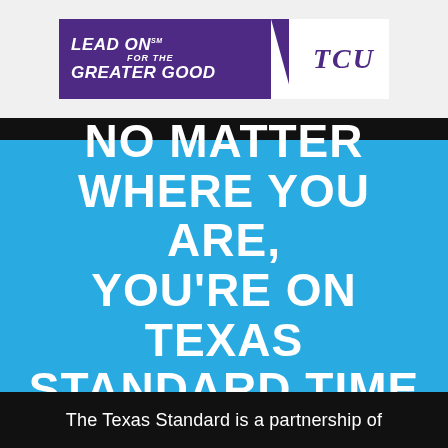[Figure (logo): TCU 'Lead On for the Greater Good' banner logo with purple background on left and white background with TCU text on right]
NO MATTER WHERE YOU ARE, YOU'RE ON TEXAS STANDARD TIME
The Texas Standard is a partnership of